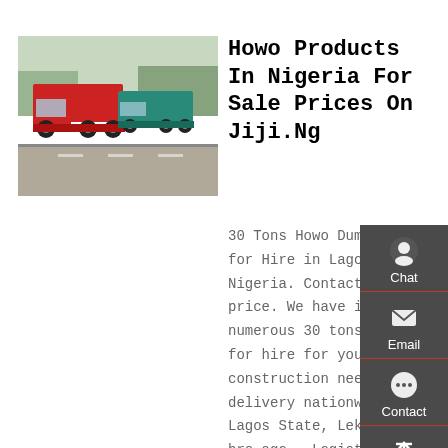[Figure (photo): Red and teal Howo dump trucks parked on a road]
Howo Products In Nigeria For Sale Prices On Jiji.Ng
30 Tons Howo Dump Trucks for Hire in Lagos Nigeria. Contact for price. We have in stock numerous 30 tons trucks for hire for your construction needs. delivery nationwide. Lagos State, Lekki, 11 hrs ago – Logistics